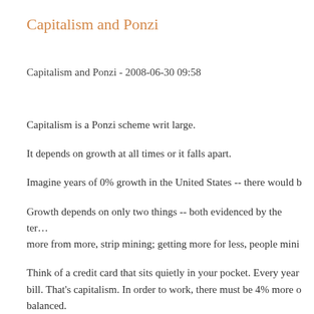Capitalism and Ponzi
Capitalism and Ponzi - 2008-06-30 09:58
Capitalism is a Ponzi scheme writ large.
It depends on growth at all times or it falls apart.
Imagine years of 0% growth in the United States -- there would b
Growth depends on only two things -- both evidenced by the term more from more, strip mining; getting more for less, people mini
Think of a credit card that sits quietly in your pocket. Every year bill. That's capitalism. In order to work, there must be 4% more balanced.